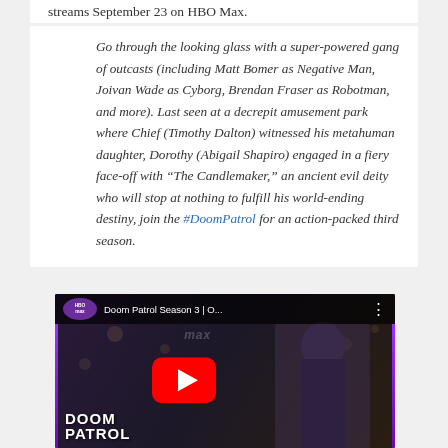streams September 23 on HBO Max.
Go through the looking glass with a super-powered gang of outcasts (including Matt Bomer as Negative Man, Joivan Wade as Cyborg, Brendan Fraser as Robotman, and more). Last seen at a decrepit amusement park where Chief (Timothy Dalton) witnessed his metahuman daughter, Dorothy (Abigail Shapiro) engaged in a fiery face-off with “The Candlemaker,” an ancient evil deity who will stop at nothing to fulfill his world-ending destiny, join the #DoomPatrol for an action-packed third season.
[Figure (screenshot): YouTube video embed thumbnail for Doom Patrol Season 3 official trailer on HBO Max channel. Shows a woman with dark hair against a dark background, with a red YouTube play button in the center, HBO Max logo in top left, and DOOM PATROL text in bottom left.]